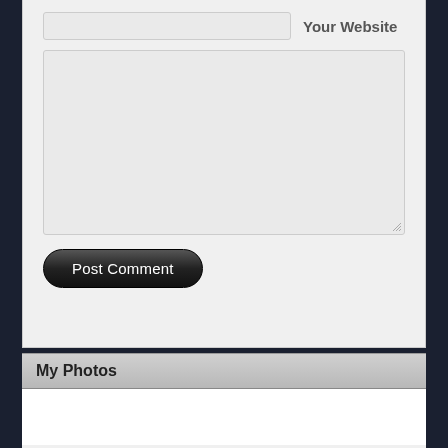[Figure (screenshot): Web form with a 'Your Website' text input field, a large comment textarea, and a 'Post Comment' button, followed by a 'My Photos' section header widget below the form area.]
My Photos